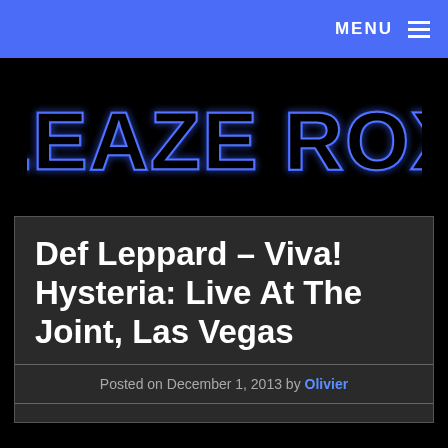MENU
[Figure (logo): Sleaze Roxx logo — large stylized neon blue text on black background reading SLEAZE ROXX]
Def Leppard – Viva! Hysteria: Live At The Joint, Las Vegas
Posted on December 1, 2013 by Olivier